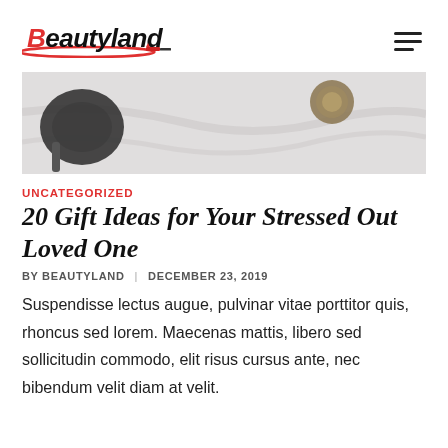Beautyland
[Figure (photo): Close-up photo of makeup brushes and beauty products on a white/marble surface]
UNCATEGORIZED
20 Gift Ideas for Your Stressed Out Loved One
BY BEAUTYLAND | DECEMBER 23, 2019
Suspendisse lectus augue, pulvinar vitae porttitor quis, rhoncus sed lorem. Maecenas mattis, libero sed sollicitudin commodo, elit risus cursus ante, nec bibendum velit diam at velit.